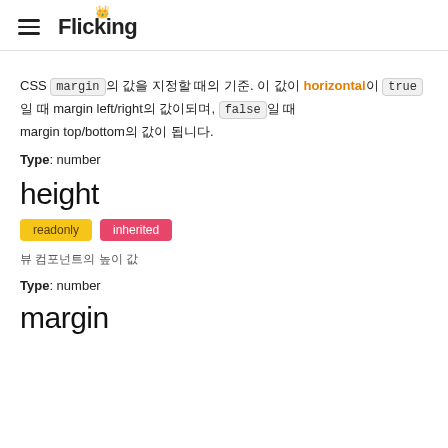Flicking
CSS margin의 값을 지정할 때의 기준. 이 값이 horizontal이 true일 때 margin left/right의 값이되며, false 일 때 margin top/bottom의 값이 됩니다.
Type: number
height
readonly inherited
뷰 컴포넌트의 높이 값
Type: number
margin